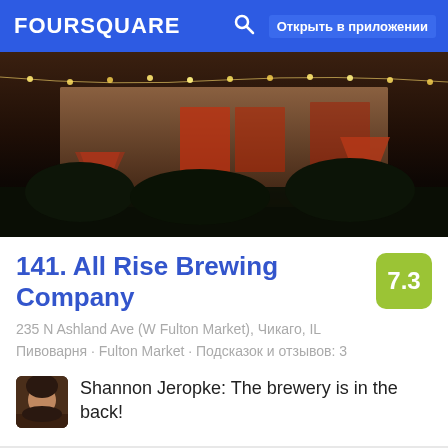FOURSQUARE  Открыть в приложении
[Figure (photo): Exterior night photo of All Rise Brewing Company patio with string lights and umbrellas]
141. All Rise Brewing Company
235 N Ashland Ave (W Fulton Market), Чикаго, IL
Пивоварня · Fulton Market · Подсказок и отзывов: 3
Shannon Jeropke: The brewery is in the back!
[Figure (photo): Interior photo of brewery, partially visible at bottom of page]